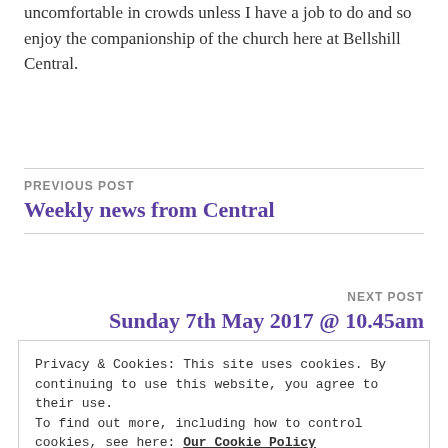uncomfortable in crowds unless I have a job to do and so enjoy the companionship of the church here at Bellshill Central.
PREVIOUS POST
Weekly news from Central
NEXT POST
Sunday 7th May 2017 @ 10.45am
Privacy & Cookies: This site uses cookies. By continuing to use this website, you agree to their use.
To find out more, including how to control cookies, see here: Our Cookie Policy
Close and accept
Required fields are marked *